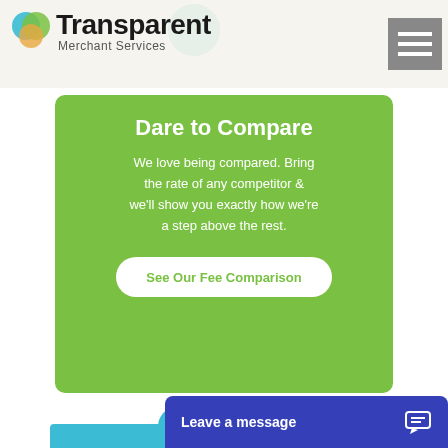[Figure (logo): Transparent Merchant Services logo with overlapping colored circles (blue, green, orange)]
Dare to Compare
We love being compared. Bring the rate of any competitor & we'll show you exactly how we're a step above the rest.
See Our Fee Comparison
Leave a message